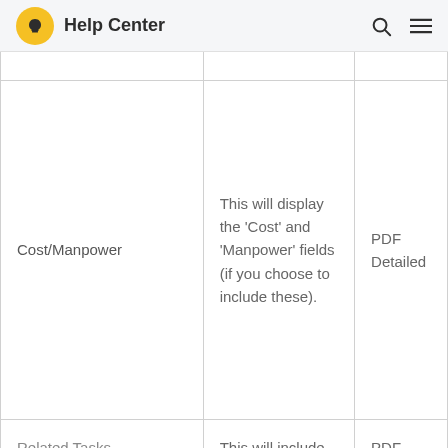Help Center
| Cost/Manpower | This will display the 'Cost' and 'Manpower' fields (if you choose to include these). | PDF Detailed |
| Related Tasks | This will include any 'Related Tasks' | PDF |